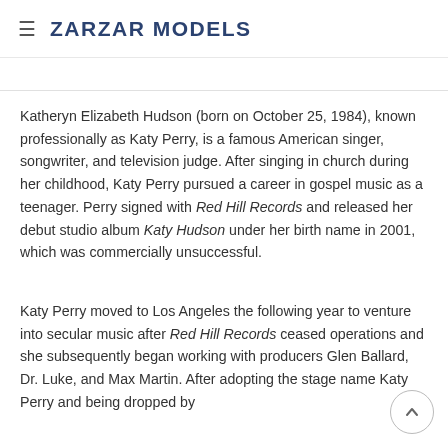≡ ZARZAR MODELS
American Idol, the show is second run on ABC. Katy Perry's newest song reached number 15 on the Billboard Hot 100 chart.
Katheryn Elizabeth Hudson (born on October 25, 1984), known professionally as Katy Perry, is a famous American singer, songwriter, and television judge. After singing in church during her childhood, Katy Perry pursued a career in gospel music as a teenager. Perry signed with Red Hill Records and released her debut studio album Katy Hudson under her birth name in 2001, which was commercially unsuccessful.
Katy Perry moved to Los Angeles the following year to venture into secular music after Red Hill Records ceased operations and she subsequently began working with producers Glen Ballard, Dr. Luke, and Max Martin. After adopting the stage name Katy Perry and being dropped by